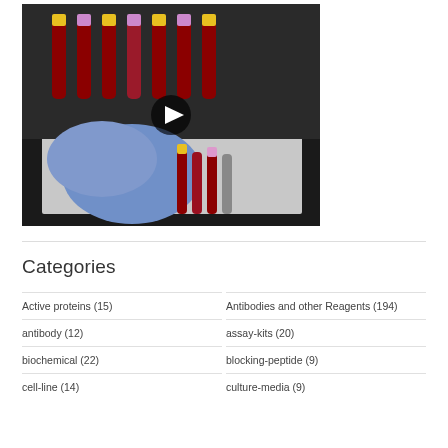[Figure (photo): Video thumbnail showing a gloved hand handling blood collection tubes in a laboratory tray, with a play button overlay]
Categories
Active proteins (15)
Antibodies and other Reagents (194)
antibody (12)
assay-kits (20)
biochemical (22)
blocking-peptide (9)
cell-line (14)
culture-media (9)